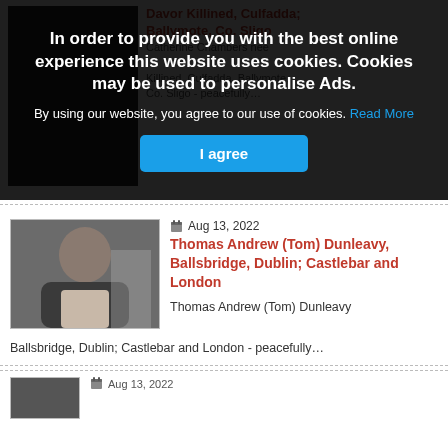In order to provide you with the best online experience this website uses cookies. Cookies may be used to personalise Ads. By using our website, you agree to our use of cookies. Read More I agree
[Figure (photo): Partial obituary card visible behind cookie overlay with red text links and a dark photo on left]
[Figure (photo): Photo of Thomas Andrew (Tom) Dunleavy - elderly man with glasses, grey hair, wearing dark jacket]
Aug 13, 2022
Thomas Andrew (Tom) Dunleavy, Ballsbridge, Dublin; Castlebar and London
Thomas Andrew (Tom) Dunleavy
Ballsbridge, Dublin; Castlebar and London - peacefully…
Aug 13, 2022